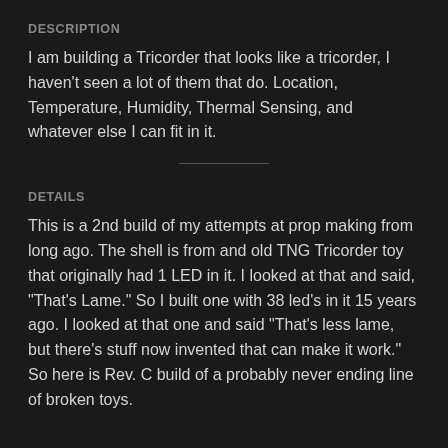DESCRIPTION
I am building a Tricorder that looks like a tricorder, I haven't seen a lot of them that do. Location, Temperature, Humidity, Thermal Sensing, and whatever else I can fit in it.
DETAILS
This is a 2nd build of my attempts at prop making from long ago. The shell is from and old TNG Tricorder toy that originally had 1 LED in it. I looked at that and said, "That's Lame." So I built one with 38 led's in it 15 years ago. I looked at that one and said "That's less lame, but there's stuff now invented that can make it work." So here is Rev. C build of a probably never ending line of broken toys.